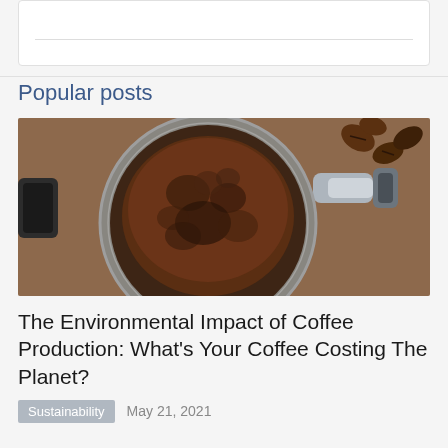[Figure (other): Top card with partial content and horizontal divider line]
Popular posts
[Figure (photo): Close-up photo of a coffee portafilter filled with ground coffee, with coffee beans visible in the background]
The Environmental Impact of Coffee Production: What's Your Coffee Costing The Planet?
Sustainability   May 21, 2021